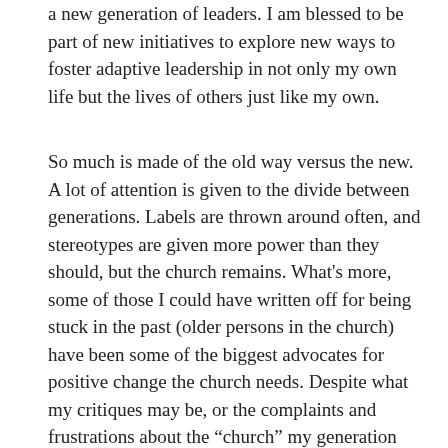a new generation of leaders. I am blessed to be part of new initiatives to explore new ways to foster adaptive leadership in not only my own life but the lives of others just like my own.
So much is made of the old way versus the new. A lot of attention is given to the divide between generations. Labels are thrown around often, and stereotypes are given more power than they should, but the church remains. What’s more, some of those I could have written off for being stuck in the past (older persons in the church) have been some of the biggest advocates for positive change the church needs. Despite what my critiques may be, or the complaints and frustrations about the “church” my generation may have, these saints have invited me to engage, to speak to these concerns and have taken up the task of mentoring an unruly millennial pastor like myself. The Center for Pastoral Leadership at Nazarene Theological Seminary